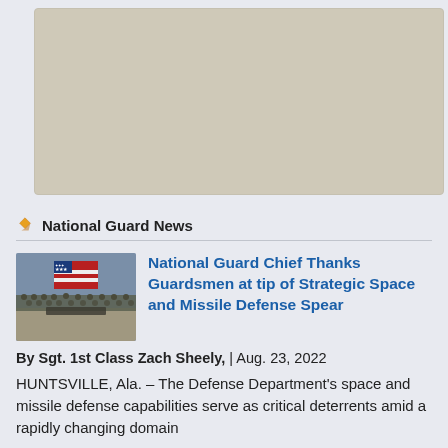[Figure (photo): Large gray/beige placeholder image area at top of page]
National Guard News
[Figure (photo): Photo of military guardsmen in formation inside a large hangar with an American flag displayed in the background]
National Guard Chief Thanks Guardsmen at tip of Strategic Space and Missile Defense Spear
By Sgt. 1st Class Zach Sheely, | Aug. 23, 2022
HUNTSVILLE, Ala. – The Defense Department's space and missile defense capabilities serve as critical deterrents amid a rapidly changing domain